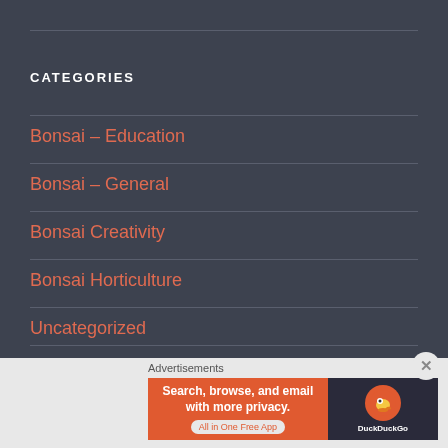CATEGORIES
Bonsai – Education
Bonsai – General
Bonsai Creativity
Bonsai Horticulture
Uncategorized
Advertisements
[Figure (screenshot): DuckDuckGo advertisement banner: Search, browse, and email with more privacy. All in One Free App. Shows DuckDuckGo logo on dark background.]